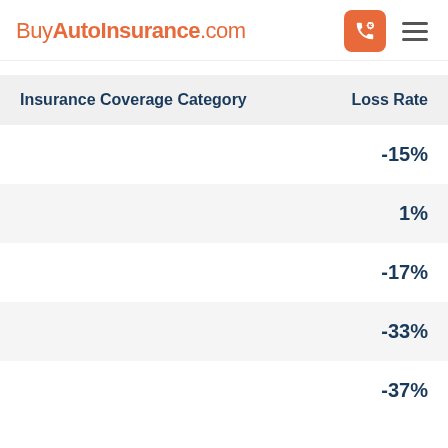BuyAutoInsurance.com
| Insurance Coverage Category | Loss Rate |
| --- | --- |
|  | -15% |
|  | 1% |
|  | -17% |
|  | -33% |
|  | -37% |